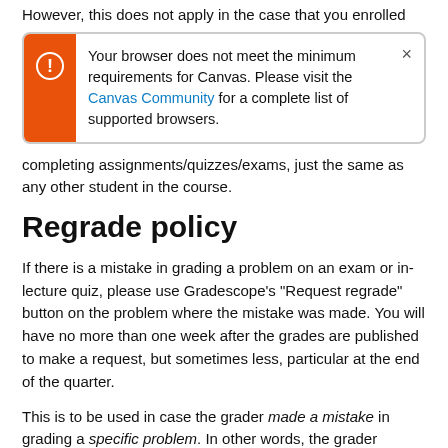However, this does not apply in the case that you enrolled
[Figure (screenshot): Browser compatibility warning dialog box with orange left panel containing exclamation icon, and text: 'Your browser does not meet the minimum requirements for Canvas. Please visit the Canvas Community for a complete list of supported browsers.' with a close (×) button.]
completing assignments/quizzes/exams, just the same as any other student in the course.
Regrade policy
If there is a mistake in grading a problem on an exam or in-lecture quiz, please use Gradescope's "Request regrade" button on the problem where the mistake was made. You will have no more than one week after the grades are published to make a request, but sometimes less, particular at the end of the quarter.
This is to be used in case the grader made a mistake in grading a specific problem. In other words, the grader pointed out a flaw in your solution to a problem, but the grader was